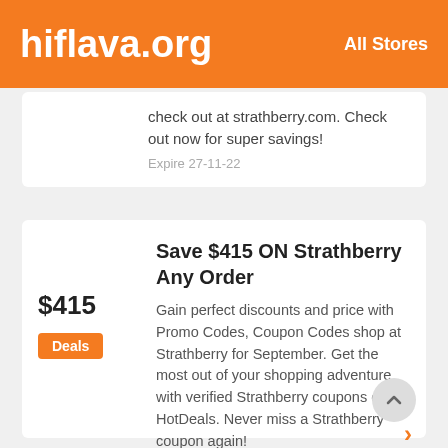hiflava.org   All Stores
check out at strathberry.com. Check out now for super savings!
Expire 27-11-22
Save $415 ON Strathberry Any Order
$415
Deals
Gain perfect discounts and price with Promo Codes, Coupon Codes shop at Strathberry for September. Get the most out of your shopping adventure with verified Strathberry coupons on HotDeals. Never miss a Strathberry coupon again!
Expire 27-11-22